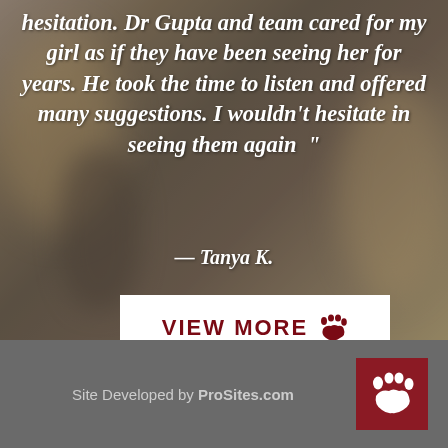[Figure (photo): Blurred background photo of a golden/yellow dog with a dark object, overlaid with semi-transparent dark tint]
hesitation. Dr Gupta and team cared for my girl as if they have been seeing her for years. He took the time to listen and offered many suggestions. I wouldn’t hesitate in seeing them again ”
— Tanya K.
VIEW MORE 🐾
Site Developed by ProSites.com